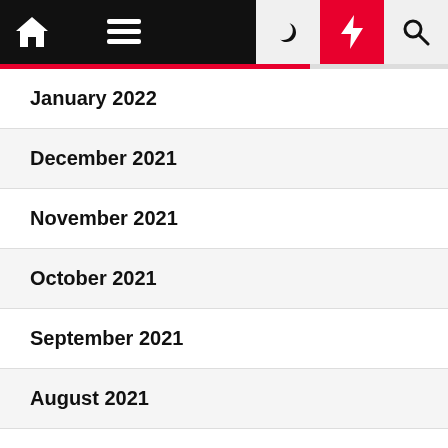Navigation bar with home, menu, moon, bolt, search icons
January 2022
December 2021
November 2021
October 2021
September 2021
August 2021
July 2021
June 2021
May 2021
April 2021